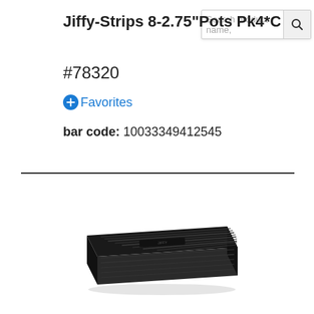Jiffy-Strips 8-2.75"Pots Pk4*C
#78320
+Favorites
bar code:  10033349412545
[Figure (photo): Black plastic seedling tray/flat, rectangular shape with ribbed bottom, viewed from a slight angle above]
[Figure (screenshot): Search bar with magnifying glass icon in upper right corner]